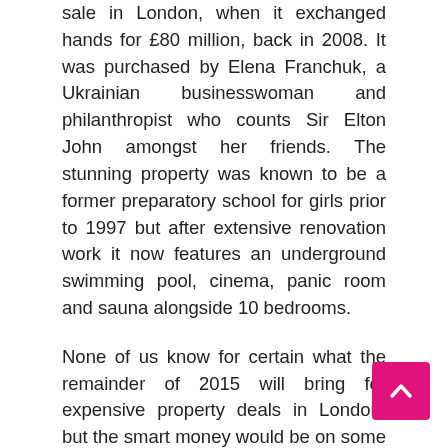sale in London, when it exchanged hands for £80 million, back in 2008. It was purchased by Elena Franchuk, a Ukrainian businesswoman and philanthropist who counts Sir Elton John amongst her friends. The stunning property was known to be a former preparatory school for girls prior to 1997 but after extensive renovation work it now features an underground swimming pool, cinema, panic room and sauna alongside 10 bedrooms.
None of us know for certain what the remainder of 2015 will bring for expensive property deals in London, but the smart money would be on some high-end purchases being snapped up by foreign investors in the Kensington area.
Jonathan Stephens is the founder of Surrenden and has a wealth of experience in the property sector and shares his knowledge by writing for property and